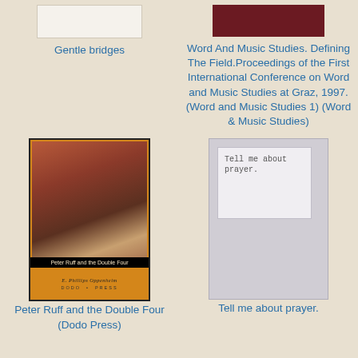[Figure (illustration): Book cover placeholder for Gentle bridges — white/cream colored rectangle]
Gentle bridges
[Figure (illustration): Book cover for Word And Music Studies — dark red/maroon colored rectangle]
Word And Music Studies. Defining The Field.Proceedings of the First International Conference on Word and Music Studies at Graz, 1997. (Word and Music Studies 1) (Word & Music Studies)
[Figure (illustration): Book cover for Peter Ruff and the Double Four (Dodo Press) — orange cover with black title bar, illustration of man in street scene, E. Phillips Oppenheim author, Dodo Press publisher]
Peter Ruff and the Double Four (Dodo Press)
[Figure (illustration): Book cover placeholder — gray rectangle with inner white box containing text 'Tell me about prayer.']
Tell me about prayer.